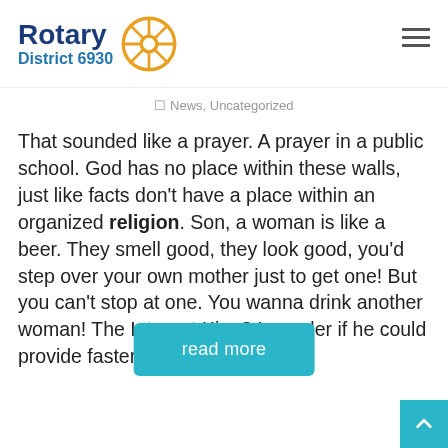Rotary District 6930
News, Uncategorized
That sounded like a prayer. A prayer in a public school. God has no place within these walls, just like facts don't have a place within an organized religion. Son, a woman is like a beer. They smell good, they look good, you'd step over your own mother just to get one! But you can't stop at one. You wanna drink another woman! The Internet King? I wonder if he could provide faster nudity.
read more